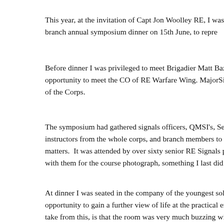This year, at the invitation of Capt Jon Woolley RE, I was honored to attend the support branch annual symposium dinner on 15th June, to repre…
Before dinner I was privileged to meet Brigadier Matt Bazeley RE… had the opportunity to meet the CO of RE Warfare Wing. Major… Signals Officers of the Corps.
The symposium had gathered signals officers, QMSI's, Senior a… instructors from the whole corps, and branch members to update… matters. It was attended by over sixty senior RE Signals person… pose with them for the course photograph, something I last did a…
At dinner I was seated in the company of the youngest soldiers… opportunity to gain a further view of life at the practical end of s… will take from this, is that the room was very much buzzing wit… devoted to their trade, just like it always has been, for decades.
Dinner itself was of a very high standard and afterwards, the SM…